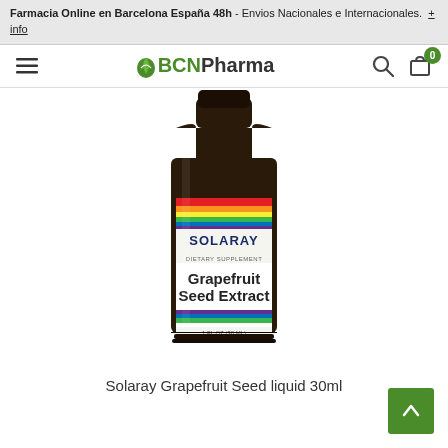Farmacia Online en Barcelona España 48h - Envios Nacionales e Internacionales. + info
[Figure (logo): BCNPharma logo with green leaf icon, hamburger menu, search and cart icons in navigation bar]
[Figure (photo): Solaray Grapefruit Seed Extract 100 MG liquid supplement bottle in dark amber glass, with rainbow-striped label]
Solaray Grapefruit Seed liquid 30ml